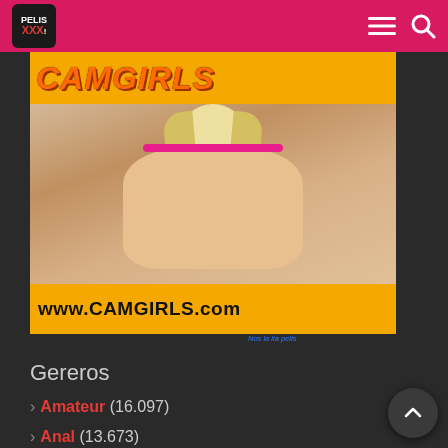PELIS XXX [navigation bar with logo, menu and search icons]
[Figure (photo): Advertisement banner for www.CAMGIRLS.com showing logo at top in orange, photo of blonde woman, and URL bar at bottom in orange.]
Nos la lia pelis [small blue italic link text below ad]
Gereros
> Amateur (16.097)
> Anal (13.673)